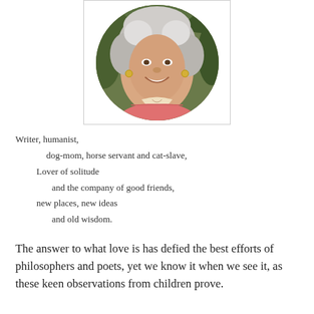[Figure (photo): Circular portrait photo of a smiling older woman with curly gray-white hair, wearing a pink top with a patterned scarf, set against a green leafy background. Displayed inside a white rectangular box with a light border.]
Writer, humanist,
dog-mom, horse servant and cat-slave,
Lover of solitude
and the company of good friends,
new places, new ideas
and old wisdom.
The answer to what love is has defied the best efforts of philosophers and poets, yet we know it when we see it, as these keen observations from children prove.